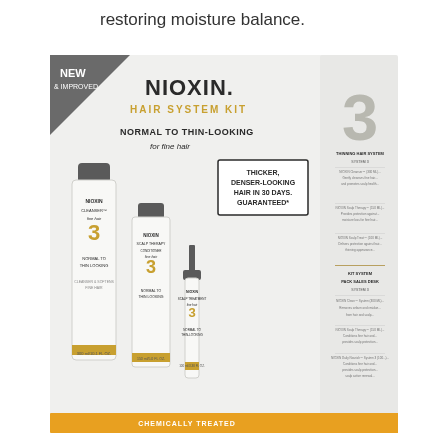restoring moisture balance.
[Figure (photo): NIOXIN Hair System Kit 3 product box for Normal to Thin-Looking fine hair, showing three white bottles: Cleanser, Scalp Therapy Conditioner, and Scalp Treatment, labeled with the number 3. The box has a gold 'NEW & IMPROVED' corner badge, a badge stating 'THICKER, DENSER-LOOKING HAIR IN 30 DAYS. GUARANTEED*', 'NORMAL TO THIN-LOOKING for fine hair', and 'CHEMICALLY TREATED' at the bottom. The right side of the box shows the number 3 and product instructions text. The box has gold/orange accent strips.]